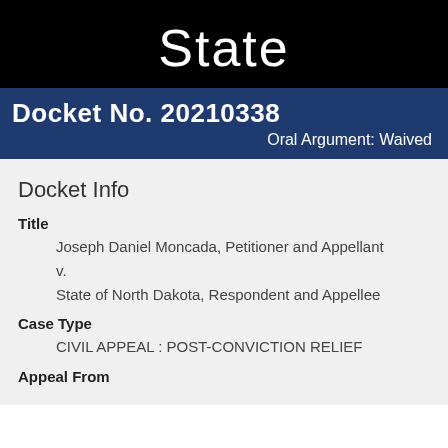State
Docket No. 20210338
Oral Argument: Waived
Docket Info
Title
    Joseph Daniel Moncada, Petitioner and Appellant
    v.
    State of North Dakota, Respondent and Appellee
Case Type
    CIVIL APPEAL : POST-CONVICTION RELIEF
Appeal From